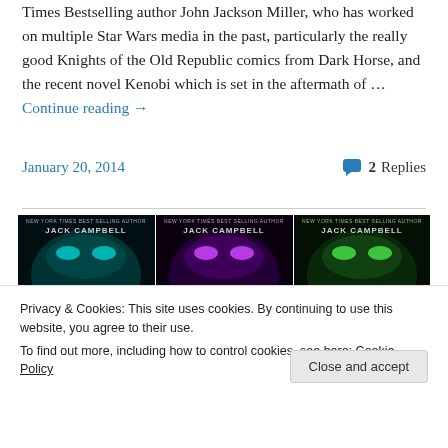Times Bestselling author John Jackson Miller, who has worked on multiple Star Wars media in the past, particularly the really good Knights of the Old Republic comics from Dark Horse, and the recent novel Kenobi which is set in the aftermath of … Continue reading →
January 20, 2014
2 Replies
[Figure (photo): Three book covers side by side for 'The Lost' series by Jack Campbell, each with dark background and glowing eyes, teal, purple, and green color variants]
Privacy & Cookies: This site uses cookies. By continuing to use this website, you agree to their use. To find out more, including how to control cookies, see here: Cookie Policy